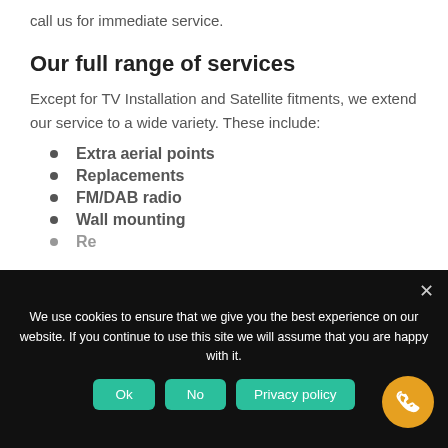call us for immediate service.
Our full range of services
Except for TV Installation and Satellite fitments, we extend our service to a wide variety. These include:
Extra aerial points
Replacements
FM/DAB radio
Wall mounting
We use cookies to ensure that we give you the best experience on our website. If you continue to use this site we will assume that you are happy with it.